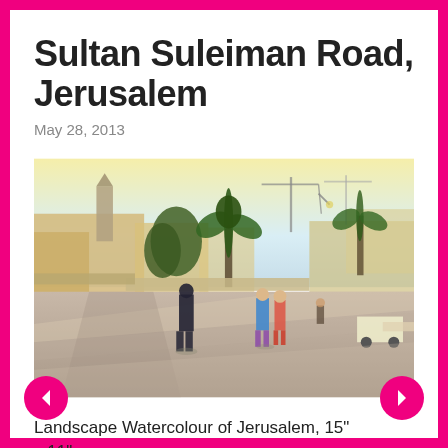Sultan Suleiman Road, Jerusalem
May 28, 2013
[Figure (illustration): Watercolour painting of Sultan Suleiman Road in Jerusalem showing a sunny street scene with palm trees, stone buildings, a church tower, cranes, and people walking on a wide boulevard.]
Landscape Watercolour of Jerusalem, 15" x 11"